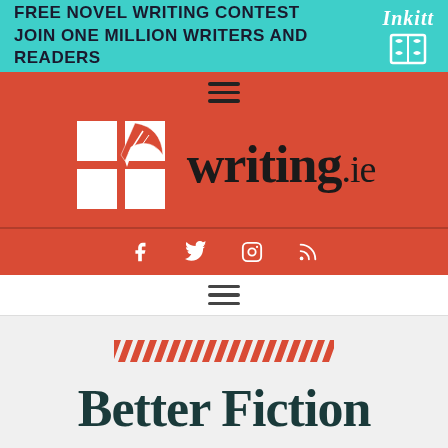[Figure (screenshot): Inkitt advertisement banner: FREE NOVEL WRITING CONTEST / JOIN ONE MILLION WRITERS AND READERS with Inkitt logo and book icon on teal background]
[Figure (logo): writing.ie website header on red background with four-square quill logo, site name 'writing.ie', hamburger menu icons, and social media icons (Facebook, Twitter, Instagram, RSS)]
[Figure (illustration): Diagonal red stripe decorative bar]
Better Fiction